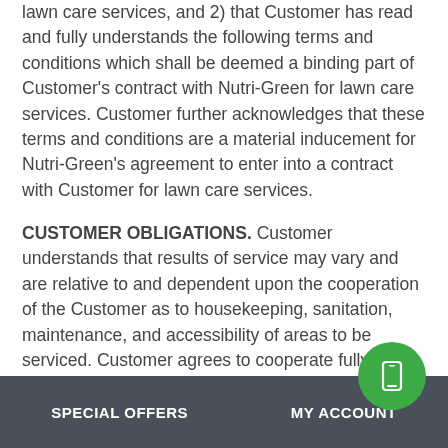lawn care services, and 2) that Customer has read and fully understands the following terms and conditions which shall be deemed a binding part of Customer's contract with Nutri-Green for lawn care services. Customer further acknowledges that these terms and conditions are a material inducement for Nutri-Green's agreement to enter into a contract with Customer for lawn care services.
CUSTOMER OBLIGATIONS. Customer understands that results of service may vary and are relative to and dependent upon the cooperation of the Customer as to housekeeping, sanitation, maintenance, and accessibility of areas to be serviced. Customer agrees to cooperate fully with Nutri-Green to facilitate treatment and control.
SPECIAL OFFERS   MY ACCOUNT